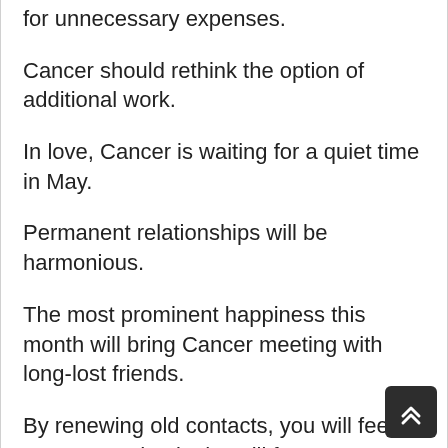for unnecessary expenses.
Cancer should rethink the option of additional work.
In love, Cancer is waiting for a quiet time in May.
Permanent relationships will be harmonious.
The most prominent happiness this month will bring Cancer meeting with long-lost friends.
By renewing old contacts, you will feel younger and gain the will for new challenges.
In the second half of the month, plan your